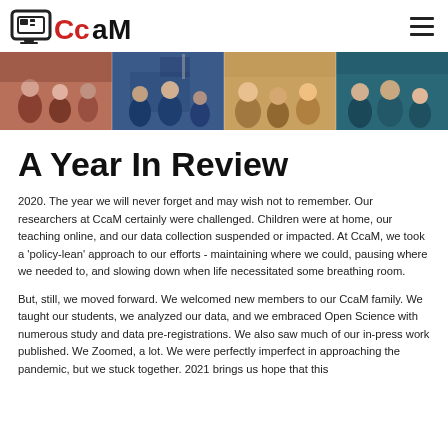CcaM logo and navigation
[Figure (photo): Banner strip of four classroom photos showing children learning in school settings]
A Year In Review
2020. The year we will never forget and may wish not to remember. Our researchers at CcaM certainly were challenged. Children were at home, our teaching online, and our data collection suspended or impacted. At CcaM, we took a 'policy-lean' approach to our efforts - maintaining where we could, pausing where we needed to, and slowing down when life necessitated some breathing room.
But, still, we moved forward. We welcomed new members to our CcaM family. We taught our students, we analyzed our data, and we embraced Open Science with numerous study and data pre-registrations. We also saw much of our in-press work published. We Zoomed, a lot. We were perfectly imperfect in approaching the pandemic, but we stuck together. 2021 brings us hope that this